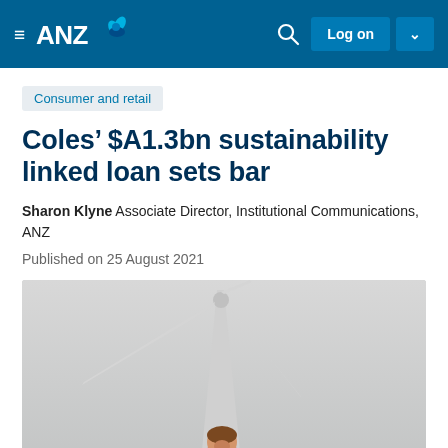ANZ — Log on
Consumer and retail
Coles' $A1.3bn sustainability linked loan sets bar
Sharon Klyne Associate Director, Institutional Communications, ANZ
Published on 25 August 2021
[Figure (photo): A woman in a red Coles uniform smiling, standing in front of a large wind turbine against a grey sky.]